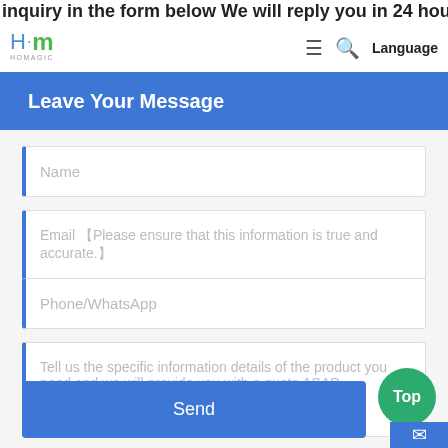inquiry in the form below We will reply you in 24 hours
[Figure (logo): H·M logo with green M and blue/grey H, subtitle 'HOMAGIC']
Leave Your Message
Name
Email 「Please ensure that this information is true and accurate.」
Phone/WhatsApp
Tell us the specific information details of the product you need and we will provide you with a quote ASAP.
Send
Top